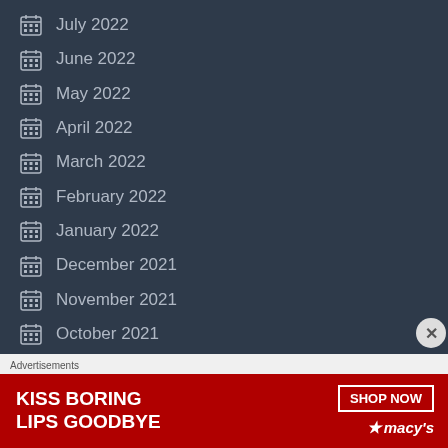July 2022
June 2022
May 2022
April 2022
March 2022
February 2022
January 2022
December 2021
November 2021
October 2021
September 2021
August 2021
Advertisements
[Figure (illustration): Macy's lipstick advertisement banner with text KISS BORING LIPS GOODBYE and SHOP NOW button with Macy's star logo]